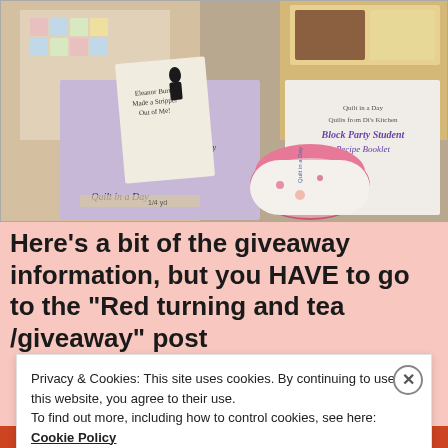[Figure (photo): Photograph of quilting books and materials including 'Eleanor Burns Made a Stripper Out of Me!', 'Quilt in a Day', 'Quilts from Di's Kitchen', and 'Block Party Student Recipe Booklet' along with fabric and quilting tools]
Here’s a bit of the giveaway information, but you HAVE to go to the “Red turning and tea /giveaway” post
Privacy & Cookies: This site uses cookies. By continuing to use this website, you agree to their use.
To find out more, including how to control cookies, see here:
Cookie Policy
Close and accept